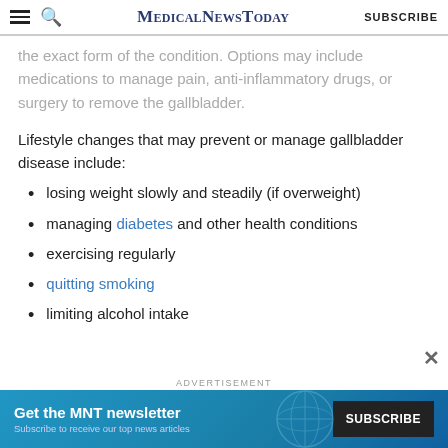MedicalNewsToday SUBSCRIBE
the exact form of the condition. Options may include medications to manage pain, anti-inflammatory drugs, or surgery to remove the gallbladder.
Lifestyle changes that may prevent or manage gallbladder disease include:
losing weight slowly and steadily (if overweight)
managing diabetes and other health conditions
exercising regularly
quitting smoking
limiting alcohol intake
[Figure (screenshot): Advertisement banner for MNT newsletter with SUBSCRIBE button. Text reads: Get the MNT newsletter. Subscribe to receive our top news articles.]